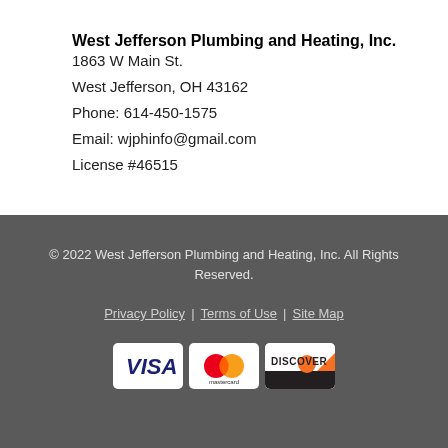West Jefferson Plumbing and Heating, Inc.
1863 W Main St.
West Jefferson, OH 43162
Phone: 614-450-1575
Email: wjphinfo@gmail.com
License #46515
© 2022 West Jefferson Plumbing and Heating, Inc. All Rights Reserved.
Privacy Policy | Terms of Use | Site Map
[Figure (logo): Payment method icons: VISA, Mastercard, Discover]